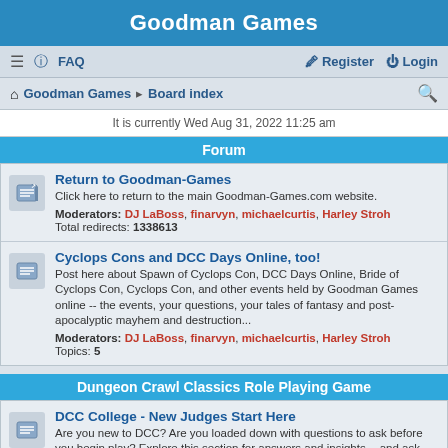Goodman Games
≡  FAQ    Register  Login
Goodman Games · Board index
It is currently Wed Aug 31, 2022 11:25 am
Forum
Return to Goodman-Games
Click here to return to the main Goodman-Games.com website.
Moderators: DJ LaBoss, finarvyn, michaelcurtis, Harley Stroh
Total redirects: 1338613
Cyclops Cons and DCC Days Online, too!
Post here about Spawn of Cyclops Con, DCC Days Online, Bride of Cyclops Con, Cyclops Con, and other events held by Goodman Games online -- the events, your questions, your tales of fantasy and post-apocalyptic mayhem and destruction...
Moderators: DJ LaBoss, finarvyn, michaelcurtis, Harley Stroh
Topics: 5
Dungeon Crawl Classics Role Playing Game
DCC College - New Judges Start Here
Are you new to DCC? Are you loaded down with questions to ask before you begin play? Explore this section for answers and insights -- and ask your own questions -- about getting started with the Dungeon Crawl Classics Roleplaying Game...
Moderators: DJ LaBoss, finarvyn, michaelcurtis, Harley Stroh